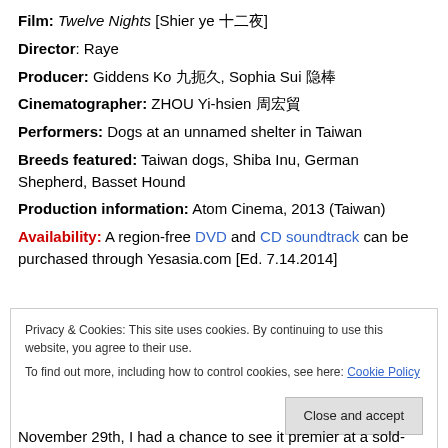Film: Twelve Nights [Shier ye 十二夜]
Director: Raye
Producer: Giddens Ko 九把刀, Sophia Sui 隋棠
Cinematographer: ZHOU Yi-hsien 周宜賢
Performers: Dogs at an unnamed shelter in Taiwan
Breeds featured: Taiwan dogs, Shiba Inu, German Shepherd, Basset Hound
Production information: Atom Cinema, 2013 (Taiwan)
Availability: A region-free DVD and CD soundtrack can be purchased through Yesasia.com [Ed. 7.14.2014]
Privacy & Cookies: This site uses cookies. By continuing to use this website, you agree to their use. To find out more, including how to control cookies, see here: Cookie Policy
November 29th, I had a chance to see it premier at a sold-